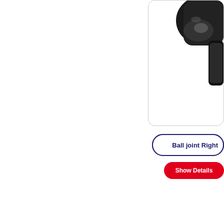[Figure (photo): Partial view of a black ball joint automotive part, top-right corner of page, cropped]
Ball joint Right
[Figure (other): Show Details button - red pill button]
PRODUCT CODE  27
[Figure (photo): Black automotive control arm / wishbone part, lower right section of page, partially visible]